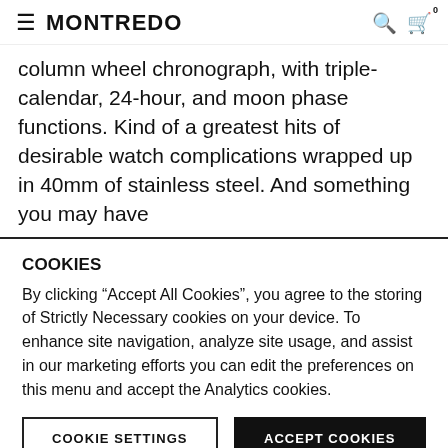≡ MONTREDO
column wheel chronograph, with triple-calendar, 24-hour, and moon phase functions. Kind of a greatest hits of desirable watch complications wrapped up in 40mm of stainless steel. And something you may have
COOKIES
By clicking “Accept All Cookies”, you agree to the storing of Strictly Necessary cookies on your device. To enhance site navigation, analyze site usage, and assist in our marketing efforts you can edit the preferences on this menu and accept the Analytics cookies.
COOKIE SETTINGS | ACCEPT COOKIES